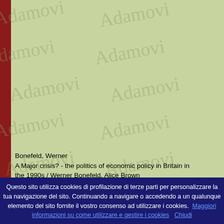[Figure (illustration): Light green background with repeating cursive watermark text pattern (appears to show a signature/script word repeated diagonally across the page). A dark red vertical bar is on the left edge.]
Bonefeld, Werner
A Major crisis? - the politics of economic policy in Britain in the 1990s / Werner Bonefeld, Alice Brown
Aldershot etc. - Dartmouth, ,1995
Saggio Monografico
Bonefeld, Werner
The recomposition of the British state duri...
Werner Bonefeld
Questo sito utilizza cookies di profilazione di terze parti per personalizzare la tua navigazione del sito. Continuando a navigare o accedendo a un qualunque elemento del sito fornite il vostro consenso ad utilizzare i cookies. Maggiori informazioni su come utilizzare e gestire i cookies   Chiudi